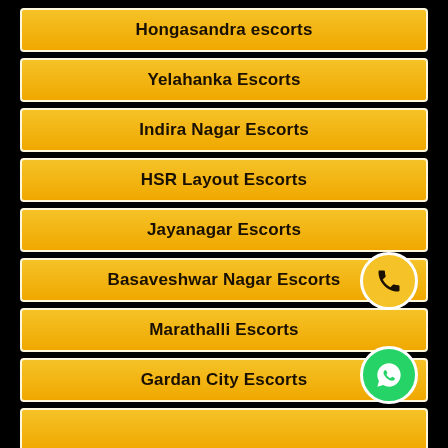Hongasandra escorts
Yelahanka Escorts
Indira Nagar Escorts
HSR Layout Escorts
Jayanagar Escorts
Basaveshwar Nagar Escorts
Marathalli Escorts
Gardan City Escorts